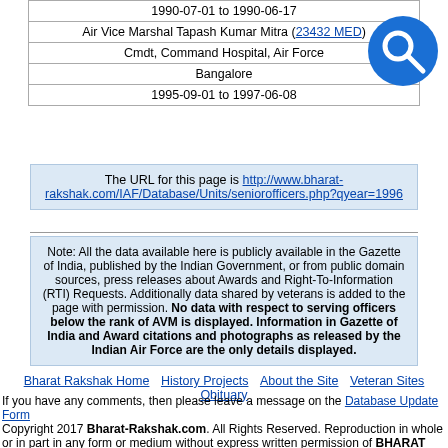| 1990-07-01 to 1990-06-17 |
| Air Vice Marshal Tapash Kumar Mitra (23432 MED) |
| Cmdt, Command Hospital, Air Force |
| Bangalore |
| 1995-09-01 to 1997-06-08 |
The URL for this page is http://www.bharat-rakshak.com/IAF/Database/Units/seniorofficers.php?qyear=1996
Note: All the data available here is publicly available in the Gazette of India, published by the Indian Government, or from public domain sources, press releases about Awards and Right-To-Information (RTI) Requests. Additionally data shared by veterans is added to the page with permission. No data with respect to serving officers below the rank of AVM is displayed. Information in Gazette of India and Award citations and photographs as released by the Indian Air Force are the only details displayed.
Bharat Rakshak Home | History Projects | About the Site | Veteran Sites | Obituary
If you have any comments, then please leave a message on the Database Update Form
Copyright 2017 Bharat-Rakshak.com. All Rights Reserved. Reproduction in whole or in part in any form or medium without express written permission of BHARAT RAKSHAK is prohibited.